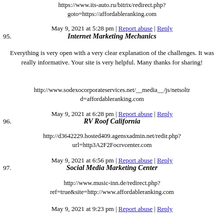https://www.its-auto.ru/bitrix/redirect.php?goto=https://affordableranking.com
May 9, 2021 at 5:28 pm | Report abuse | Reply
95. Internet Marketing Mechanics
Everything is very open with a very clear explanation of the challenges. It was really informative. Your site is very helpful. Many thanks for sharing!
http://www.sodexocorporateservices.net/__media__/js/netsoltrd=affordableranking.com
May 9, 2021 at 6:28 pm | Report abuse | Reply
96. RV Roof California
http://d3642229.hosted409.agensxadmin.net/redir.php?url=http3A2F2Focrvcenter.com
May 9, 2021 at 6:56 pm | Report abuse | Reply
97. Social Media Marketing Center
http://www.music-inn.de/redirect.php?ref=true&site=http://www.affordableranking.com
May 9, 2021 at 9:23 pm | Report abuse | Reply